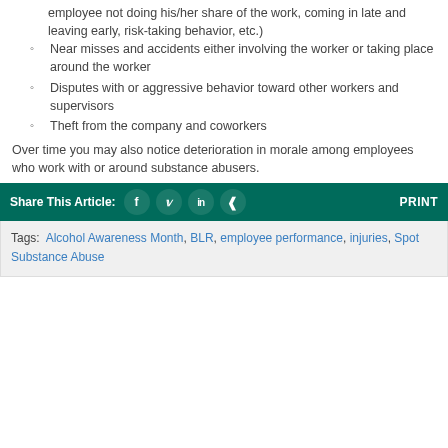employee not doing his/her share of the work, coming in late and leaving early, risk-taking behavior, etc.)
Near misses and accidents either involving the worker or taking place around the worker
Disputes with or aggressive behavior toward other workers and supervisors
Theft from the company and coworkers
Over time you may also notice deterioration in morale among employees who work with or around substance abusers.
Share This Article: [Facebook] [Twitter] [LinkedIn] [Share] PRINT
Tags: Alcohol Awareness Month, BLR, employee performance, injuries, Spot Substance Abuse